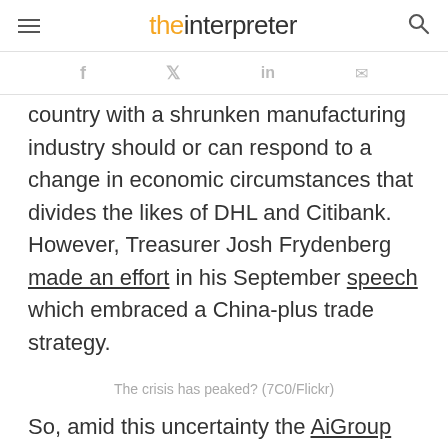the interpreter
country with a shrunken manufacturing industry should or can respond to a change in economic circumstances that divides the likes of DHL and Citibank. However, Treasurer Josh Frydenberg made an effort in his September speech which embraced a China-plus trade strategy.
The crisis has peaked? (7C0/Flickr)
So, amid this uncertainty the AiGroup survey provides an interesting insight into where Australian manufacturing business really is in the